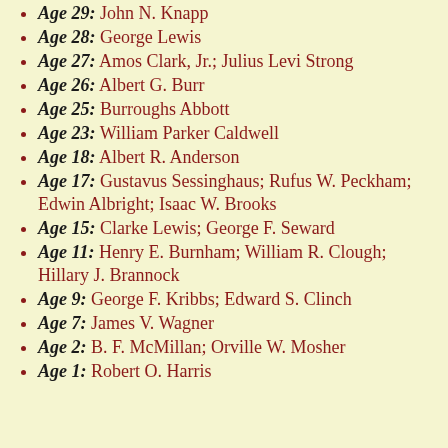Age 29: John N. Knapp
Age 28: George Lewis
Age 27: Amos Clark, Jr.; Julius Levi Strong
Age 26: Albert G. Burr
Age 25: Burroughs Abbott
Age 23: William Parker Caldwell
Age 18: Albert R. Anderson
Age 17: Gustavus Sessinghaus; Rufus W. Peckham; Edwin Albright; Isaac W. Brooks
Age 15: Clarke Lewis; George F. Seward
Age 11: Henry E. Burnham; William R. Clough; Hillary J. Brannock
Age 9: George F. Kribbs; Edward S. Clinch
Age 7: James V. Wagner
Age 2: B. F. McMillan; Orville W. Mosher
Age 1: Robert O. Harris